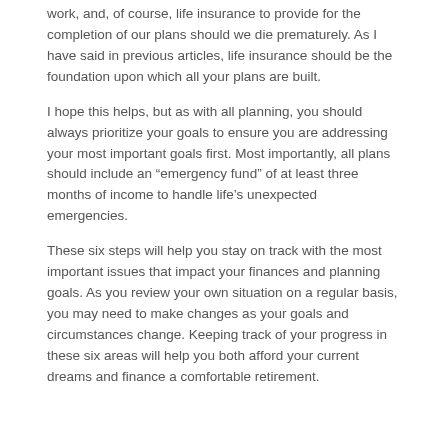work, and, of course, life insurance to provide for the completion of our plans should we die prematurely. As I have said in previous articles, life insurance should be the foundation upon which all your plans are built.
I hope this helps, but as with all planning, you should always prioritize your goals to ensure you are addressing your most important goals first. Most importantly, all plans should include an “emergency fund” of at least three months of income to handle life’s unexpected emergencies.
These six steps will help you stay on track with the most important issues that impact your finances and planning goals. As you review your own situation on a regular basis, you may need to make changes as your goals and circumstances change. Keeping track of your progress in these six areas will help you both afford your current dreams and finance a comfortable retirement.